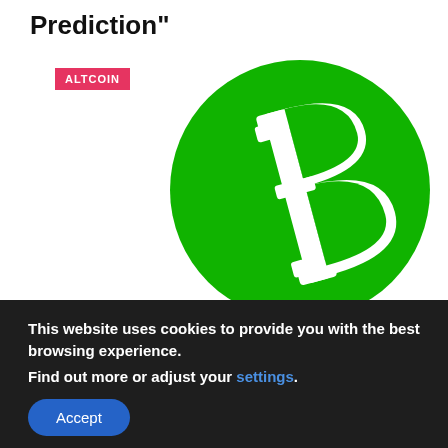Prediction"
[Figure (logo): Bitcoin Cash (BCH) logo: green circle with white Bitcoin B symbol tilted slightly]
ALTCOIN
This website uses cookies to provide you with the best browsing experience.
Find out more or adjust your settings.
Accept